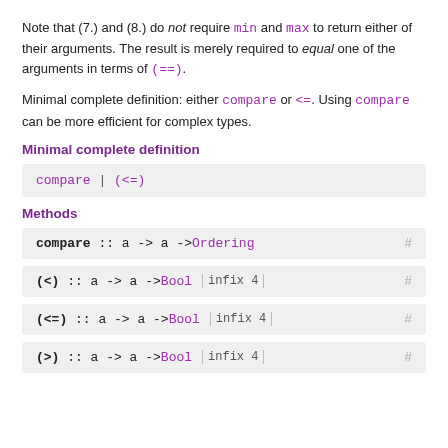Note that (7.) and (8.) do not require min and max to return either of their arguments. The result is merely required to equal one of the arguments in terms of (==).
Minimal complete definition: either compare or <=. Using compare can be more efficient for complex types.
Minimal complete definition
compare | (<=)
Methods
compare :: a -> a -> Ordering  #
(<) :: a -> a -> Bool  | infix 4 |  #
(<=) :: a -> a -> Bool  | infix 4 |  #
(>) :: a -> a -> Bool  | infix 4 |  #